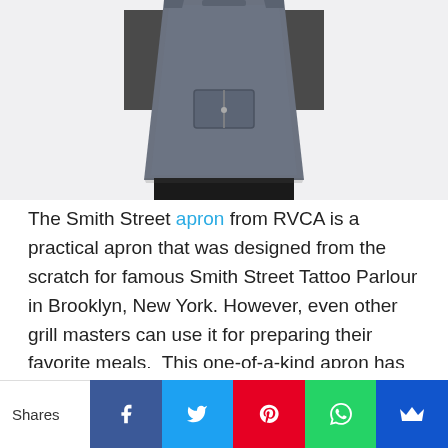[Figure (photo): A person wearing a grey apron from RVCA (Smith Street apron), shown from chest/neck down, with black pants visible below the apron. White background.]
The Smith Street apron from RVCA is a practical apron that was designed from the scratch for famous Smith Street Tattoo Parlour in Brooklyn, New York. However, even other grill masters can use it for preparing their favorite meals.  This one-of-a-kind apron has a front zippered pocket for all of your valuables, and a back criss-cross tie system for a safe, protective fit — something that's useful in a variety of circumstances, whether they're grilling, cooking or working in the studio, making this handsome accessory an appealing proposition for design-conscious individuals.
Shares | Facebook | Twitter | Pinterest | WhatsApp | Other